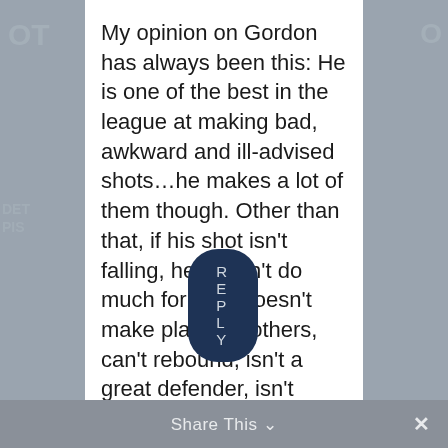My opinion on Gordon has always been this: He is one of the best in the league at making bad, awkward and ill-advised shots…he makes a lot of them though. Other than that, if his shot isn't falling, he doesn't do much for you- doesn't make plays for others, can't rebound, isn't a great defender, isn't physically dominate, isn't a leader…. which is why I thought it was a big mistake to pay $50+ mill for him.
REPLY
Share This ∨